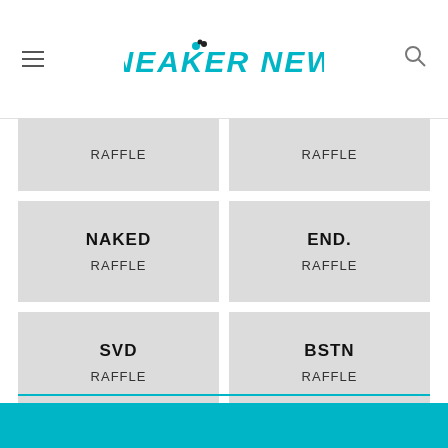SNEAKER NEWS
RAFFLE
RAFFLE
NAKED
RAFFLE
END.
RAFFLE
SVD
RAFFLE
BSTN
RAFFLE
FOOTSHOP
RAFFLE